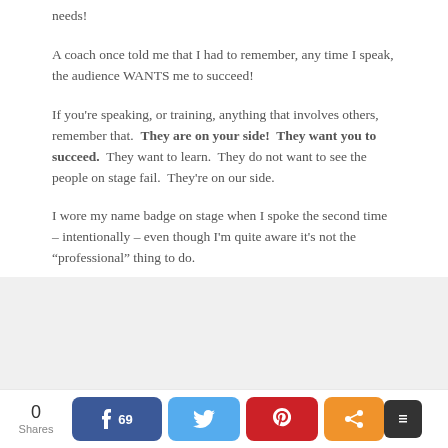needs!
A coach once told me that I had to remember, any time I speak, the audience WANTS me to succeed!
If you're speaking, or training, anything that involves others, remember that.  They are on your side!  They want you to succeed.  They want to learn.  They do not want to see the people on stage fail.  They're on our side.
I wore my name badge on stage when I spoke the second time – intentionally – even though I'm quite aware it's not the “professional” thing to do.